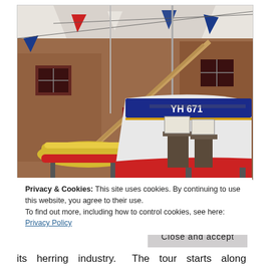[Figure (photo): Interior of a maritime museum or boat shed showing traditional wooden fishing boats on stands. A large white and blue boat with 'YH 671' painted on its hull dominates the right foreground, with a smaller yellow boat to the left. Colorful triangular bunting flags (red, white, blue) hang overhead. Background shows brick walls, red doors, and windows of the building.]
Privacy & Cookies: This site uses cookies. By continuing to use this website, you agree to their use.
To find out more, including how to control cookies, see here: Privacy Policy
its herring industry.  The tour starts along a